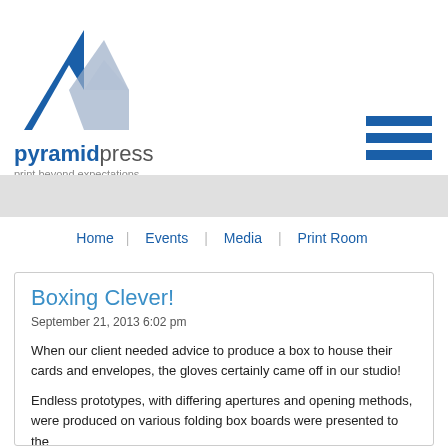[Figure (logo): Pyramid Press logo: blue and gray/lavender triangular mountain shapes above the company name]
pyramidpress
print beyond expectations
[Figure (other): Hamburger menu icon: three blue horizontal bars]
Home | Events | Media | Print Room
Boxing Clever!
September 21, 2013 6:02 pm
When our client needed advice to produce a box to house their cards and envelopes, the gloves certainly came off in our studio!
Endless prototypes, with differing apertures and opening methods, were produced on various folding box boards were presented to the